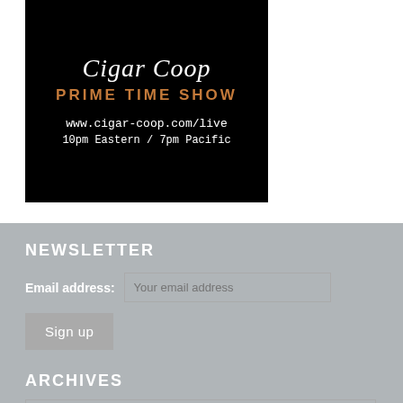[Figure (photo): Black background promotional image for Cigar Coop Prime Time Show with logo, website URL www.cigar-coop.com/live, and airing time 10pm Eastern / 7pm Pacific]
NEWSLETTER
Email address: Your email address
Sign up
ARCHIVES
Select Month